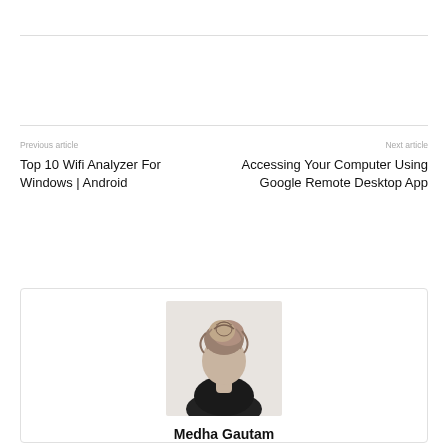Previous article
Top 10 Wifi Analyzer For Windows | Android
Next article
Accessing Your Computer Using Google Remote Desktop App
[Figure (photo): A woman photographed from behind showing an upswept hairstyle, wearing a dark top]
Medha Gautam